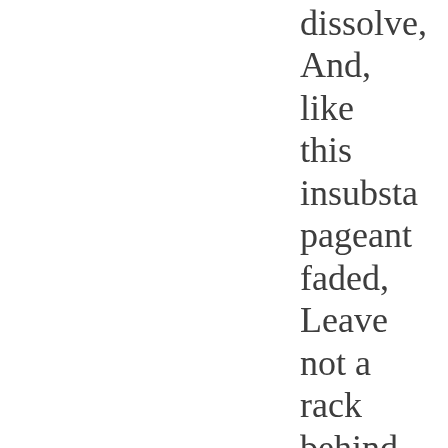dissolve, And, like this insubstantial pageant faded, Leave not a rack behind. We are such stuff As dreams are